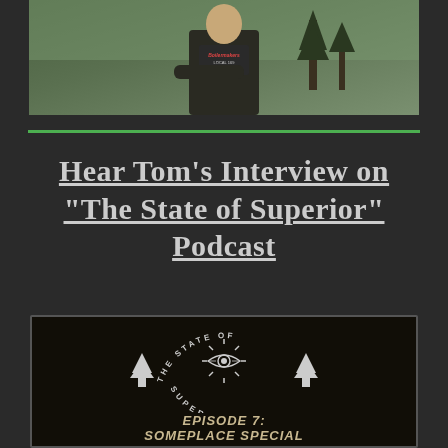[Figure (photo): Outdoor photo of a person wearing a Boilermakers Local 169 t-shirt standing with arms crossed, with trees and grass in background]
Hear Tom's Interview on "The State of Superior" Podcast
[Figure (logo): The State of Superior podcast logo - circular badge with eye/sun motif and pine trees, with text 'THE STATE OF SUPERIOR'. Episode 7: Someplace Special shown below logo.]